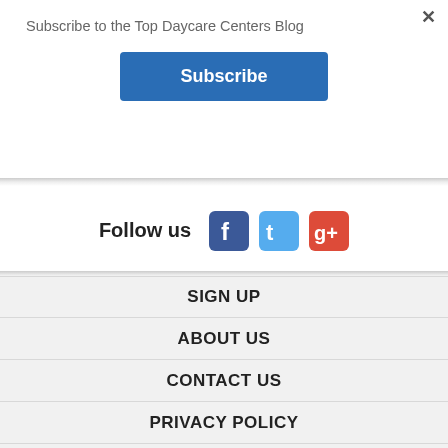Subscribe to the Top Daycare Centers Blog
Subscribe
Follow us
[Figure (logo): Facebook, Twitter, and Google+ social media icons]
SIGN UP
ABOUT US
CONTACT US
PRIVACY POLICY
BLOG